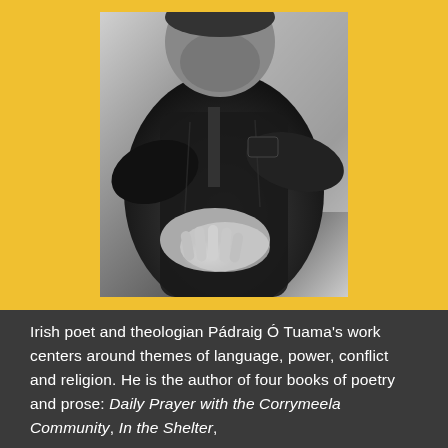[Figure (photo): Black and white portrait photograph of a man (Pádraig Ó Tuama) wearing a jacket, with arms crossed, looking slightly downward. The photo is framed with a yellow/gold border.]
Irish poet and theologian Pádraig Ó Tuama's work centers around themes of language, power, conflict and religion. He is the author of four books of poetry and prose: Daily Prayer with the Corrymeela Community, In the Shelter,